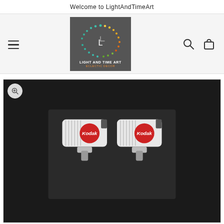Welcome to LightAndTimeArt
[Figure (logo): LightAndTimeArt logo: circular dot pattern forming a clock face on dark grey background with 'L' in center, 'LIGHT AND TIME ART' text below in white, 'ECLECTIC DECOR' in orange]
[Figure (photo): Two Kodak-branded silver cufflinks displayed on a black card background, each shaped like a retro Kodak camera/projector with red circular Kodak logo badge and silver ribbed body, with silver toggle backs visible below]